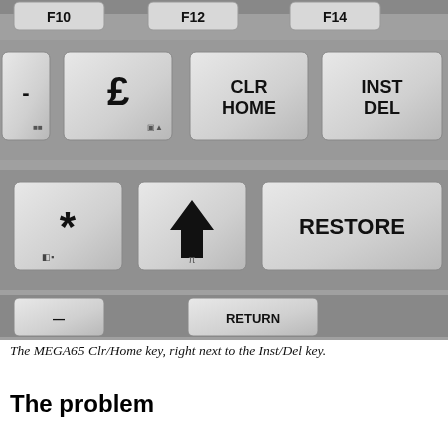[Figure (photo): Close-up photograph of MEGA65 keyboard keys. Visible keys include F10, F12, F14 in the top row; a pound sign (£) key, CLR HOME key, and INST DEL key in the second row; asterisk (*), up-arrow (↑), and RESTORE keys in the third row; and a partial RETURN key at the bottom. The keyboard is light grey with black lettering.]
The MEGA65 Clr/Home key, right next to the Inst/Del key.
The problem